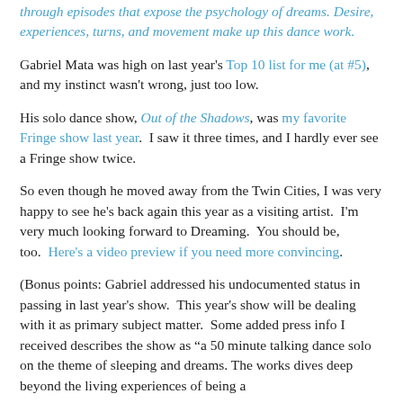through episodes that expose the psychology of dreams. Desire, experiences, turns, and movement make up this dance work.
Gabriel Mata was high on last year's Top 10 list for me (at #5), and my instinct wasn't wrong, just too low.
His solo dance show, Out of the Shadows, was my favorite Fringe show last year. I saw it three times, and I hardly ever see a Fringe show twice.
So even though he moved away from the Twin Cities, I was very happy to see he's back again this year as a visiting artist. I'm very much looking forward to Dreaming. You should be, too. Here's a video preview if you need more convincing.
(Bonus points: Gabriel addressed his undocumented status in passing in last year's show. This year's show will be dealing with it as primary subject matter. Some added press info I received describes the show as “a 50 minute talking dance solo on the theme of sleeping and dreams. The works dives deep beyond the living experiences of being a...